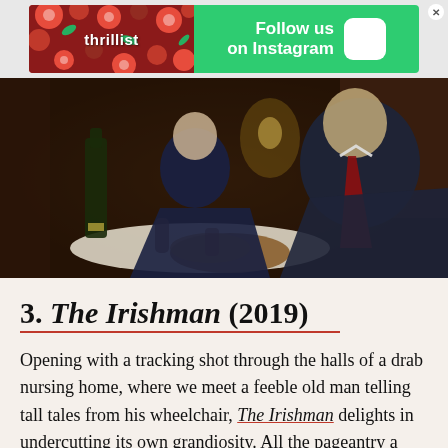[Figure (photo): Thrillist advertisement banner with logo on floral background on the left and 'Follow us on Instagram' with Instagram icon on green background on the right]
[Figure (photo): A still from The Irishman (2019) showing two men in suits sitting at a restaurant table with food and wine, in a dimly lit setting]
3. The Irishman (2019)
Opening with a tracking shot through the halls of a drab nursing home, where we meet a feeble old man telling tall tales from his wheelchair, The Irishman delights in undercutting its own grandiosity. All the pageantry a $150 million check from Netflix can buy -- the digital de-aging effects